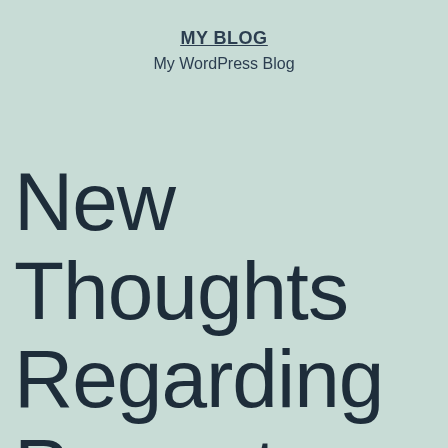MY BLOG
My WordPress Blog
New Thoughts Regarding Property Developer